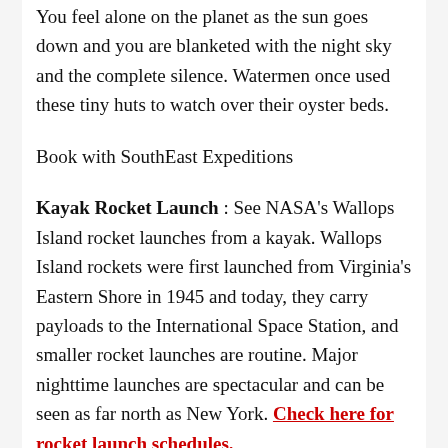You feel alone on the planet as the sun goes down and you are blanketed with the night sky and the complete silence. Watermen once used these tiny huts to watch over their oyster beds.
Book with SouthEast Expeditions
Kayak Rocket Launch : See NASA's Wallops Island rocket launches from a kayak. Wallops Island rockets were first launched from Virginia's Eastern Shore in 1945 and today, they carry payloads to the International Space Station, and smaller rocket launches are routine. Major nighttime launches are spectacular and can be seen as far north as New York. Check here for rocket launch schedules.